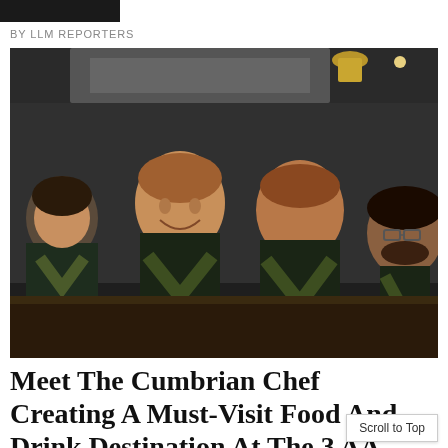LLM
BY LLM REPORTERS
[Figure (photo): Four kitchen staff in dark navy t-shirts with olive/green aprons posing and smiling behind a restaurant kitchen counter. Two men in center are prominently featured. Kitchen equipment and brass pendant lights visible in background.]
Meet The Cumbrian Chef Creating A Must-Visit Food And Drink Destination At The 3 AA-Rosette Pentonbridge Inn